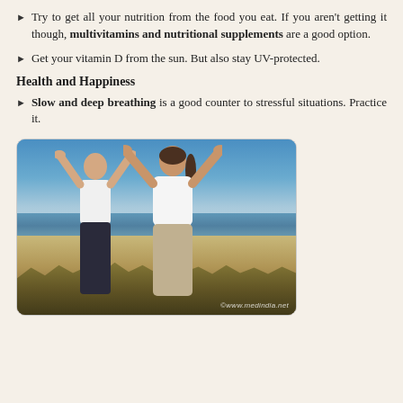Try to get all your nutrition from the food you eat. If you aren't getting it though, multivitamins and nutritional supplements are a good option.
Get your vitamin D from the sun. But also stay UV-protected.
Health and Happiness
Slow and deep breathing is a good counter to stressful situations. Practice it.
[Figure (photo): Two people (a man and a woman) standing on a beach with arms raised wide open, practicing deep breathing. Blue sky and ocean in the background. Watermark: www.medindia.net]